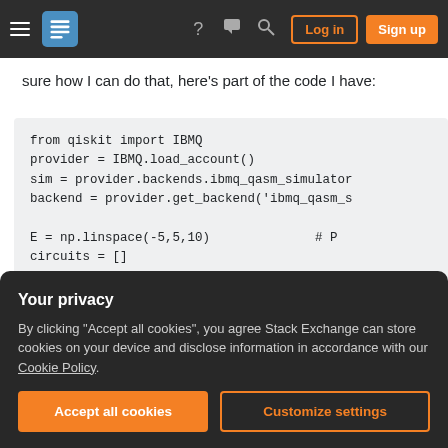Stack Exchange navigation bar with hamburger menu, logo, help, chat, search icons, Log in and Sign up buttons
sure how I can do that, here's part of the code I have:
from qiskit import IBMQ
provider = IBMQ.load_account()
sim = provider.backends.ibmq_qasm_simulator
backend = provider.get_backend('ibmq_qasm_s

E = np.linspace(-5,5,10)                # P
circuits = []
nuni = 10.                              # N

for i in range(10):
    circuitsi = []
Your privacy
By clicking "Accept all cookies", you agree Stack Exchange can store cookies on your device and disclose information in accordance with our Cookie Policy.
Accept all cookies   Customize settings
for j in range(nuni):
    circuits[i][j] = transpile(circuits